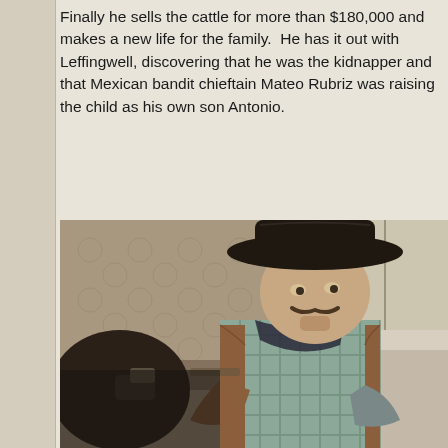Finally he sells the cattle for more than $180,000 and makes a new life for the family. He has it out with Leffingwell, discovering that he was the kidnapper and that Mexican bandit chieftain Mateo Rubriz was raising the child as his own son Antonio.
[Figure (photo): A still from a Western film showing a man in a wide-brimmed black hat wearing a plaid shirt and leather vest with a bandana, seated and looking to the side. Another person is partially visible in the foreground left. The background shows a patterned wallpaper interior.]